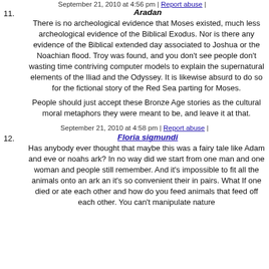September 21, 2010 at 4:58 pm | Report abuse |
11. Aradan
There is no archeological evidence that Moses existed, much less archeological evidence of the Biblical Exodus. Nor is there any evidence of the Biblical extended day associated to Joshua or the Noachian flood. Troy was found, and you don't see people don't wasting time contriving computer models to explain the supernatural elements of the Iliad and the Odyssey. It is likewise absurd to do so for the fictional story of the Red Sea parting for Moses.
People should just accept these Bronze Age stories as the cultural moral metaphors they were meant to be, and leave it at that.
September 21, 2010 at 4:58 pm | Report abuse |
12. Floria sigmundi
Has anybody ever thought that maybe this was a fairy tale like Adam and eve or noahs ark? In no way did we start from one man and one woman and people still remember. And it's impossible to fit all the animals onto an ark an it's so convenient their in pairs. What If one died or ate each other and how do you feed animals that feed off each other. You can't manipulate nature